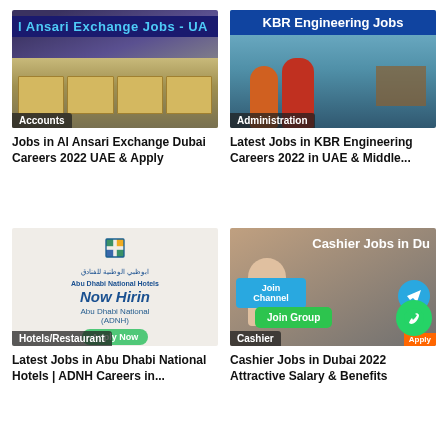[Figure (photo): Al Ansari Exchange interior with blue signage reading 'Ansari Exchange Jobs - UAE', Accounts badge at bottom]
Jobs in Al Ansari Exchange Dubai Careers 2022 UAE & Apply
[Figure (photo): KBR Engineering workers in hard hats on offshore platform, blue header reads 'KBR Engineering Jobs', Administration badge]
Latest Jobs in KBR Engineering Careers 2022 in UAE & Middle...
[Figure (photo): Abu Dhabi National Hotels hiring poster - Now Hiring Abu Dhabi National (ADNH) Apply Now, Hotels/Restaurant badge]
Latest Jobs in Abu Dhabi National Hotels | ADNH Careers in...
[Figure (photo): Cashier Jobs in Dubai with woman at counter, Join Channel and Join Group buttons overlay, Cashier badge]
Cashier Jobs in Dubai 2022 Attractive Salary & Benefits